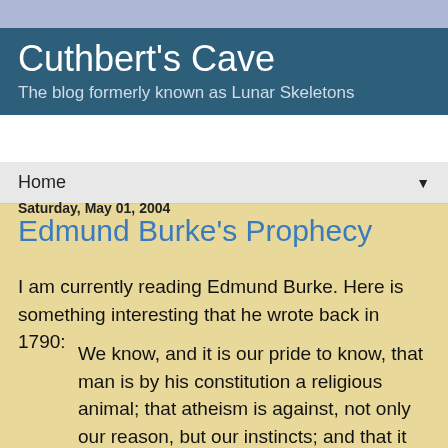Cuthbert's Cave
The blog formerly known as Lunar Skeletons
Home ▼
Saturday, May 01, 2004
Edmund Burke's Prophecy
I am currently reading Edmund Burke. Here is something interesting that he wrote back in 1790:
We know, and it is our pride to know, that man is by his constitution a religious animal; that atheism is against, not only our reason, but our instincts; and that it cannot prevail long. But if, in the moment of riot, and in a drunken delirium from the hot spirit drawn out of the alembic of hell, which France is now so furiously boiling, we